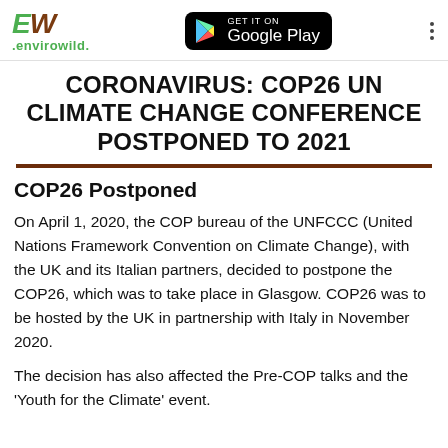.envirowild. | GET IT ON Google Play
CORONAVIRUS: COP26 UN CLIMATE CHANGE CONFERENCE POSTPONED TO 2021
COP26 Postponed
On April 1, 2020, the COP bureau of the UNFCCC (United Nations Framework Convention on Climate Change), with the UK and its Italian partners, decided to postpone the COP26, which was to take place in Glasgow. COP26 was to be hosted by the UK in partnership with Italy in November 2020.
The decision has also affected the Pre-COP talks and the 'Youth for the Climate' event.